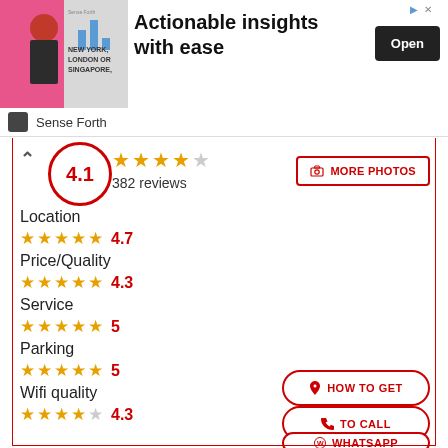[Figure (screenshot): Advertisement banner: image of a businessman with text 'NEW YORK, LONDON OR SINGAPORE,' beside bold text 'Actionable insights with ease' with an 'Open' button. Logo row shows 'Sense Forth'.]
4.1
382 reviews
MORE PHOTOS
Location
4.7
Price/Quality
4.3
Service
5
Parking
5
Wifi quality
4.3
HOW TO GET
TO CALL
WHATSAPP